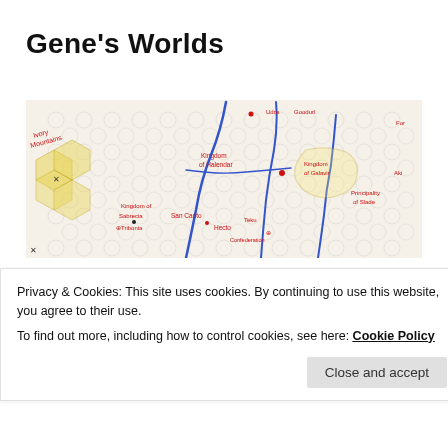Gene's Worlds
[Figure (map): A fantasy hex map showing kingdoms, mountain ranges (Ivory Mountains), rivers, and place names including Kingdom of Sabrecia, Kingdom of Halendar, Kingdom of Galavir, Principality of Slade, Confederation, Hecto, Teku, San Canto, Tribonia. Hand-drawn style with blue rivers and colored hex borders.]
TAG: TERRY GILLIAM
The Bantrelle review:
Privacy & Cookies: This site uses cookies. By continuing to use this website, you agree to their use.
To find out more, including how to control cookies, see here: Cookie Policy
Close and accept